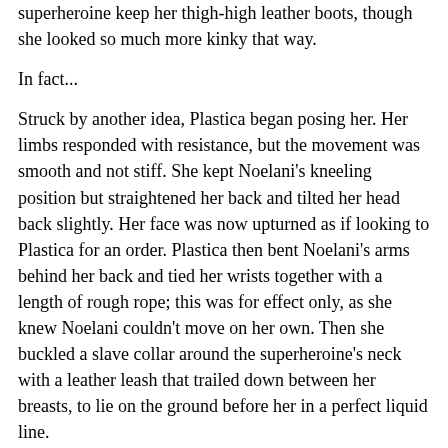superheroine keep her thigh-high leather boots, though she looked so much more kinky that way.
In fact...
Struck by another idea, Plastica began posing her. Her limbs responded with resistance, but the movement was smooth and not stiff. She kept Noelani's kneeling position but straightened her back and tilted her head back slightly. Her face was now upturned as if looking to Plastica for an order. Plastica then bent Noelani's arms behind her back and tied her wrists together with a length of rough rope; this was for effect only, as she knew Noelani couldn't move on her own. Then she buckled a slave collar around the superheroine's neck with a leather leash that trailed down between her breasts, to lie on the ground before her in a perfect liquid line.
She stepped back to assess her work. Yes, much better. Noelani looked the perfect slave, wrists crossed and tied, posture erect yet abject. Now for her face. Plastica pinched the superheroine's eyelids closed and added the hint of a pout to her large, luscious lips. She looked like a puppy dog begging for a treat now, swooning in a stew of sexual submission. It tickled Plastica to think the real Noelani would be filled with horror if she saw the picture she made.
"You're a work of art, honey," she said. "Better than Michelangelo,